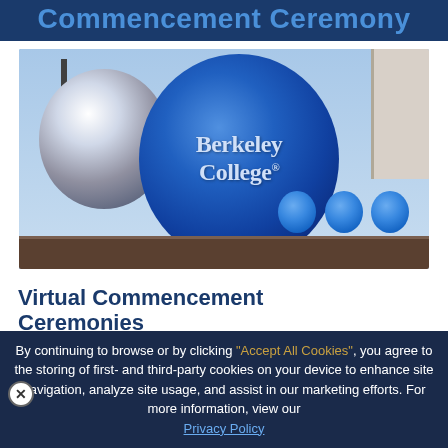Commencement Ceremony
[Figure (photo): Berkeley College branded blue mylar balloon in the foreground with silver balloon to the left and small blue balloons to the right, set against a sky background with a brick wall and building visible.]
Virtual Commencement Ceremonies
By continuing to browse or by clicking "Accept All Cookies", you agree to the storing of first- and third-party cookies on your device to enhance site navigation, analyze site usage, and assist in our marketing efforts. For more information, view our Privacy Policy